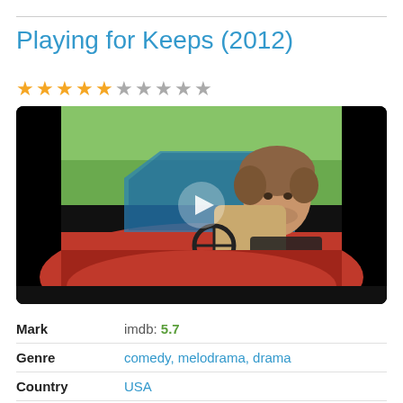Playing for Keeps (2012)
[Figure (photo): Movie thumbnail showing a man with medium-length hair sitting in a red convertible car, looking serious. There is a play button overlay in the center of the image.]
| Field | Value |
| --- | --- |
| Mark | imdb: 5.7 |
| Genre | comedy, melodrama, drama |
| Country | USA |